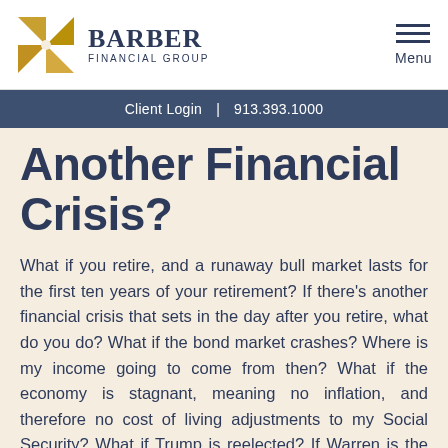[Figure (logo): Barber Financial Group logo with gold pinwheel icon and text 'BARBER FINANCIAL GROUP']
Client Login | 913.393.1000
Another Financial Crisis?
What if you retire, and a runaway bull market lasts for the first ten years of your retirement? If there's another financial crisis that sets in the day after you retire, what do you do? What if the bond market crashes? Where is my income going to come from then? What if the economy is stagnant, meaning no inflation, and therefore no cost of living adjustments to my Social Security? What if Trump is reelected? If Warren is the democratic nominee? What if we can't make a